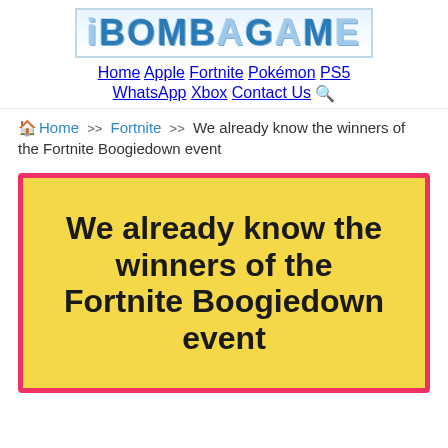iBOMBAGAME
Home  Apple  Fortnite  Pokémon  PS5  WhatsApp  Xbox  Contact Us
Home >> Fortnite >> We already know the winners of the Fortnite Boogiedown event
[Figure (other): Yellow featured image box with pink border containing large bold text: We already know the winners of the Fortnite Boogiedown event]